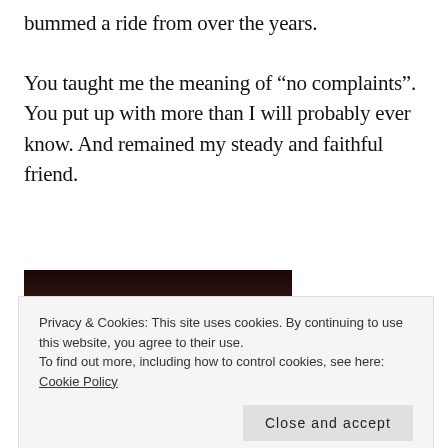bummed a ride from over the years.
You taught me the meaning of “no complaints”. You put up with more than I will probably ever know. And remained my steady and faithful friend.
[Figure (photo): Dark photograph, partially visible, showing a dimly lit scene with warm brown tones at the bottom suggesting an animal or figure.]
Privacy & Cookies: This site uses cookies. By continuing to use this website, you agree to their use.
To find out more, including how to control cookies, see here: Cookie Policy
Close and accept